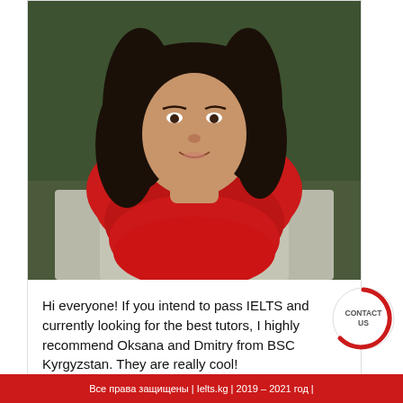[Figure (photo): Portrait photo of a woman with dark hair wearing a red scarf and light grey jacket, smiling, outdoors with blurred green background.]
Hi everyone! If you intend to pass IELTS and currently looking for the best tutors, I highly recommend Oksana and Dmitry from BSC Kyrgyzstan. They are really cool!
Читать далее
[Figure (other): Circular contact button with partial red arc, labeled CONTACT US]
Все права защищены | Ielts.kg | 2019 – 2021 год |